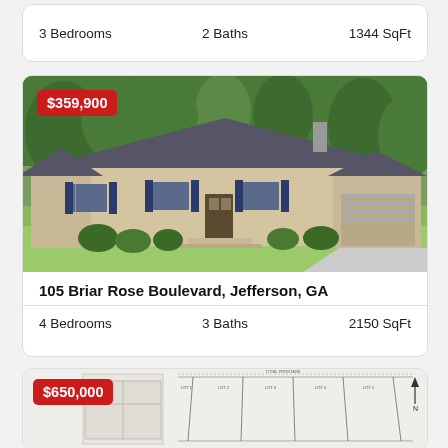3 Bedrooms   2 Baths   1344 SqFt
[Figure (photo): Exterior photo of a single-story brick home with blue shutters, dark roof, attached garage, and landscaped front yard. Price badge showing $359,900 in top left.]
105 Briar Rose Boulevard, Jefferson, GA
4 Bedrooms   3 Baths   2150 SqFt
[Figure (engineering-diagram): Property plat/survey map showing lot boundaries and dimensions. Price badge showing $650,000 in top left.]